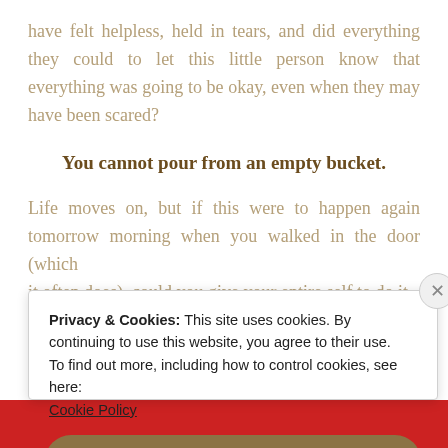have felt helpless, held in tears, and did everything they could to let this little person know that everything was going to be okay, even when they may have been scared?
You cannot pour from an empty bucket.
Life moves on, but if this were to happen again tomorrow morning when you walked in the door (which it often does), could you give your entire self to do it
Privacy & Cookies: This site uses cookies. By continuing to use this website, you agree to their use.
To find out more, including how to control cookies, see here: Cookie Policy
Close and accept